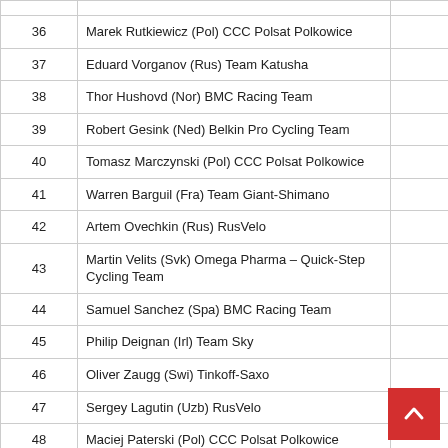| # | Rider |  |  |
| --- | --- | --- | --- |
| 36 | Marek Rutkiewicz (Pol) CCC Polsat Polkowice |  |  |
| 37 | Eduard Vorganov (Rus) Team Katusha |  |  |
| 38 | Thor Hushovd (Nor) BMC Racing Team |  |  |
| 39 | Robert Gesink (Ned) Belkin Pro Cycling Team |  |  |
| 40 | Tomasz Marczynski (Pol) CCC Polsat Polkowice |  |  |
| 41 | Warren Barguil (Fra) Team Giant-Shimano |  |  |
| 42 | Artem Ovechkin (Rus) RusVelo |  |  |
| 43 | Martin Velits (Svk) Omega Pharma – Quick-Step Cycling Team |  |  |
| 44 | Samuel Sanchez (Spa) BMC Racing Team |  |  |
| 45 | Philip Deignan (Irl) Team Sky |  |  |
| 46 | Oliver Zaugg (Swi) Tinkoff-Saxo |  |  |
| 47 | Sergey Lagutin (Uzb) RusVelo |  |  |
| 48 | Maciej Paterski (Pol) CCC Polsat Polkowice |  |  |
| 49 | Pim Ligthart (Ned) Lotto Belisol |  |  |
| 50 | Theo Bos (Ned) Belkin Pro Cycling Team |  |  |
| 51 | Tobias Ludvigsson (Swe) Team Giant-Shimano |  |  |